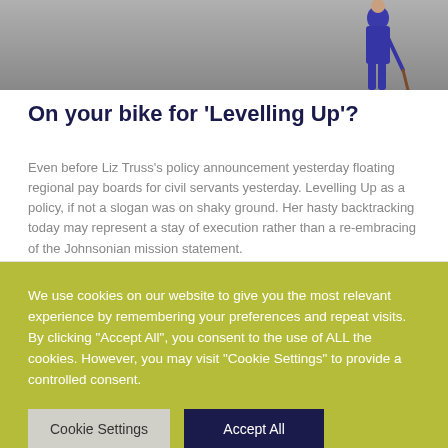[Figure (photo): Top portion of a photo showing a person in a blue outfit standing on a grey surface, partially cropped]
On your bike for 'Levelling Up'?
Even before Liz Truss's policy announcement yesterday floating regional pay boards for civil servants yesterday. Levelling Up as a policy, if not a slogan was on shaky ground. Her hasty backtracking today may represent a stay of execution rather than a re-embracing of the Johnsonian mission statement.
We use cookies on our website to give you the most relevant experience by remembering your preferences and repeat visits. By clicking "Accept All", you consent to the use of ALL the cookies. However, you may visit "Cookie Settings" to provide a controlled consent.